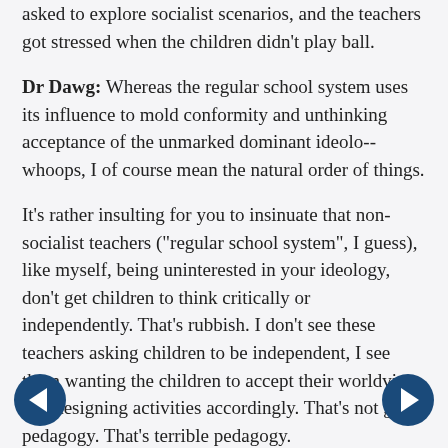asked to explore socialist scenarios, and the teachers got stressed when the children didn't play ball.
Dr Dawg: Whereas the regular school system uses its influence to mold conformity and unthinking acceptance of the unmarked dominant ideolo--whoops, I of course mean the natural order of things.
It's rather insulting for you to insinuate that non-socialist teachers ("regular school system", I guess), like myself, being uninterested in your ideology, don't get children to think critically or independently. That's rubbish. I don't see these teachers asking children to be independent, I see them wanting the children to accept their worldview and designing activities accordingly. That's not good pedagogy. That's terrible pedagogy.
Incidentally, in a socialist system, would you be keen for teachers to try and challenge socialist norms, and get children to play capitalist games, with a view to them thinking more sympathetically towards capitalism? Or